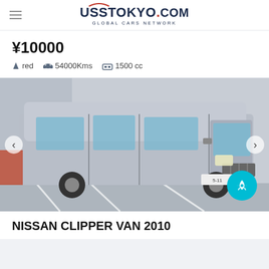UssTokyo.com GLOBAL CARS NETWORK
¥10000  red  54000Kms  1500 cc
[Figure (photo): Silver Nissan Clipper Van 2010 parked in a garage, viewed from the front-left angle. The van is compact with a boxy shape, silver/grey color, with visible front grille, headlights, and Japanese license plate.]
NISSAN CLIPPER VAN 2010